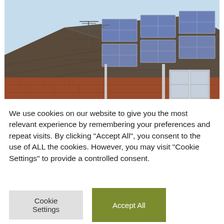[Figure (photo): Photograph of a residential house roof with solar panels installed. The roof has dark grey tiles with several blue photovoltaic solar panels mounted on them. A TV antenna is visible in the background against a light blue sky. The red-brick walls of the house are visible at the bottom of the image.]
We use cookies on our website to give you the most relevant experience by remembering your preferences and repeat visits. By clicking "Accept All", you consent to the use of ALL the cookies. However, you may visit "Cookie Settings" to provide a controlled consent.
Cookie Settings
Accept All